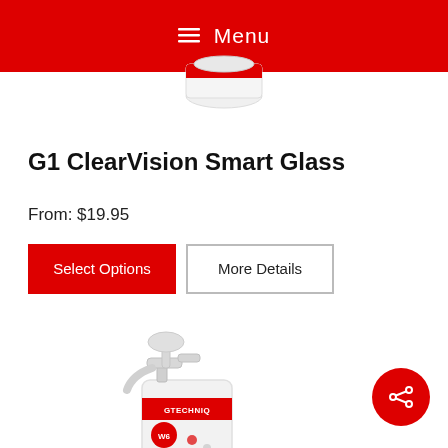Menu
[Figure (photo): Partial view of a Gtechniq product container (top portion), cropped at the navigation bar]
G1 ClearVision Smart Glass
From: $19.95
Select Options | More Details
[Figure (photo): Gtechniq spray bottle product with red label band showing GTECHNIQ brand name and W6 label, white trigger spray top]